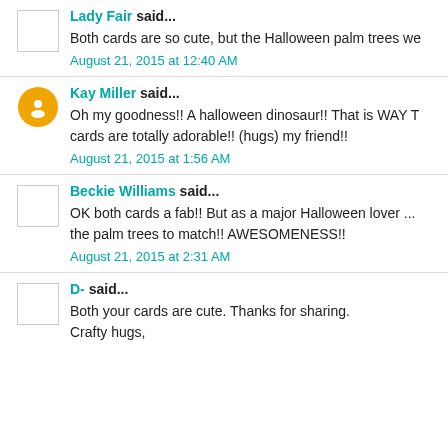Lady Fair said...
Both cards are so cute, but the Halloween palm trees we
August 21, 2015 at 12:40 AM
Kay Miller said...
Oh my goodness!! A halloween dinosaur!! That is WAY T... cards are totally adorable!! (hugs) my friend!!
August 21, 2015 at 1:56 AM
Beckie Williams said...
OK both cards a fab!! But as a major Halloween lover ... the palm trees to match!! AWESOMENESS!!
August 21, 2015 at 2:31 AM
D- said...
Both your cards are cute. Thanks for sharing.
Crafty hugs,